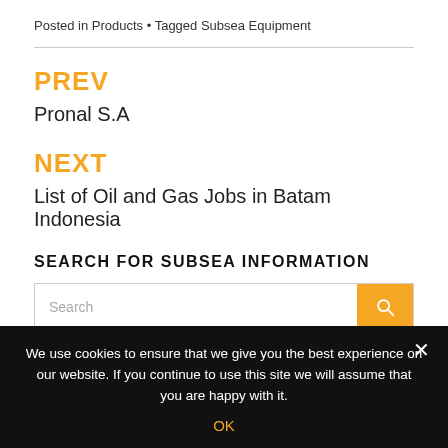Posted in Products • Tagged Subsea Equipment
PREV
Pronal S.A
NEXT
List of Oil and Gas Jobs in Batam Indonesia
SEARCH FOR SUBSEA INFORMATION
We use cookies to ensure that we give you the best experience on our website. If you continue to use this site we will assume that you are happy with it.
OK